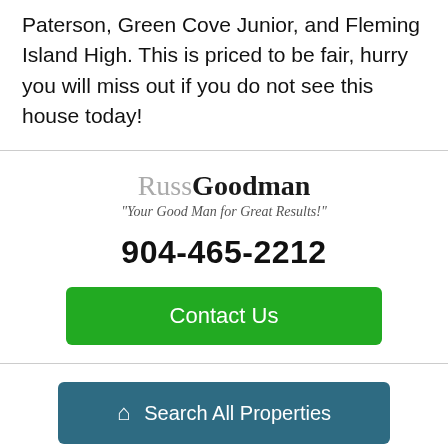Paterson, Green Cove Junior, and Fleming Island High. This is priced to be fair, hurry you will miss out if you do not see this house today!
[Figure (logo): RussGoodman logo with tagline 'Your Good Man for Great Results!']
904-465-2212
Contact Us
Search All Properties
Share